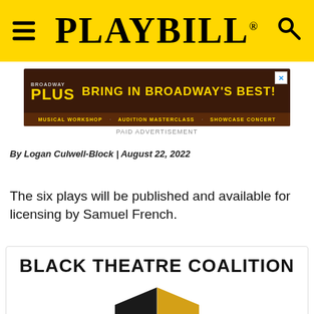PLAYBILL
[Figure (screenshot): Broadway Plus advertisement banner: 'BRING IN BROADWAY'S BEST!' with Musical Workshop, Audition Masterclass, Showcase Concert]
PAID ADVERTISEMENT
By Logan Culwell-Block | August 22, 2022
The six plays will be published and available for licensing by Samuel French.
[Figure (logo): Black Theatre Coalition logo with theatre mask split black and gold, tagline: MOBILIZE · IMPLEMENT · TRANSFORM]